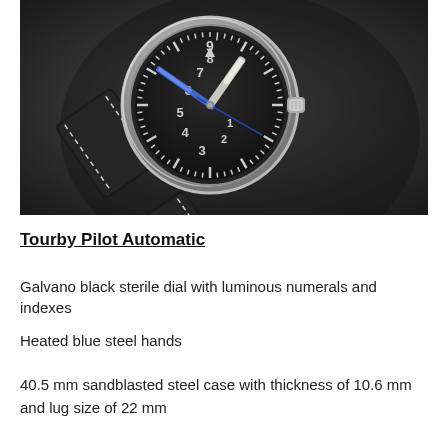[Figure (photo): Close-up photograph of a Tourby Pilot Automatic watch with black galvano dial, luminous numerals, blue steel hands, and a black leather strap with white stitching and rivets, against a dark grey background.]
Tourby Pilot Automatic
Galvano black sterile dial with luminous numerals and indexes
Heated blue steel hands
40.5 mm sandblasted steel case with thickness of 10.6 mm and lug size of 22 mm